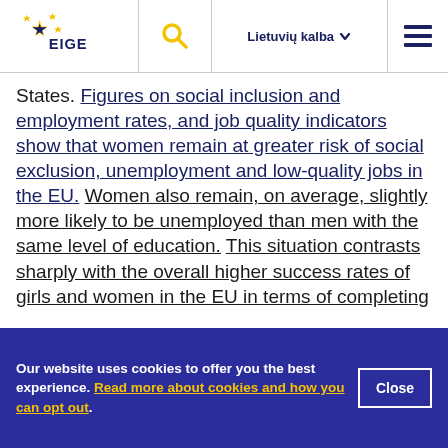EIGE | Lietuvių kalba
States. Figures on social inclusion and employment rates, and job quality indicators show that women remain at greater risk of social exclusion, unemployment and low-quality jobs in the EU. Women also remain, on average, slightly more likely to be unemployed than men with the same level of education. This situation contrasts sharply with the overall higher success rates of girls and women in the EU in terms of completing
Our website uses cookies to offer you the best experience. Read more about cookies and how you can opt out.